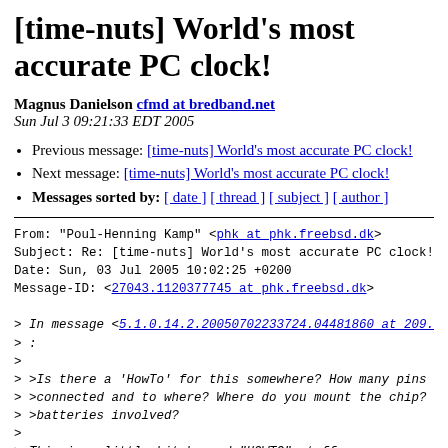[time-nuts] World's most accurate PC clock!
Magnus Danielson cfmd at bredband.net
Sun Jul 3 09:21:33 EDT 2005
Previous message: [time-nuts] World's most accurate PC clock!
Next message: [time-nuts] World's most accurate PC clock!
Messages sorted by: [ date ] [ thread ] [ subject ] [ author ]
From: "Poul-Henning Kamp" <phk at phk.freebsd.dk>
Subject: Re: [time-nuts] World's most accurate PC clock!
Date: Sun, 03 Jul 2005 10:02:25 +0200
Message-ID: <27043.1120377745 at phk.freebsd.dk>

> In message <5.1.0.14.2.20050702233724.04481860 at 209..
> :
>
> >Is there a 'HowTo' for this somewhere?  How many pins
> >connected and to where?  Where do you mount the chip?
> >batteries involved?
>
> This is a little bit beyond "HOWTO" stuff.